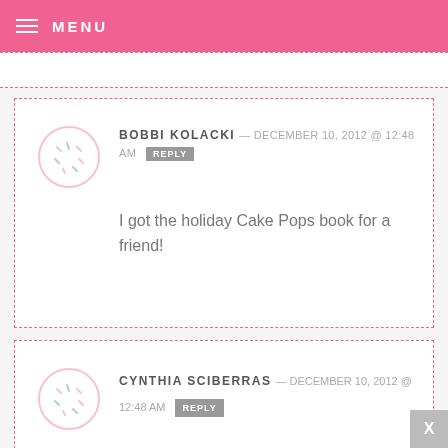MENU
BOBBI KOLACKI — DECEMBER 10, 2012 @ 12:48 AM  REPLY
I got the holiday Cake Pops book for a friend!
CYNTHIA SCIBERRAS — DECEMBER 10, 2012 @ 12:48 AM  REPLY
My last homemade gift was on the 23rd if No...